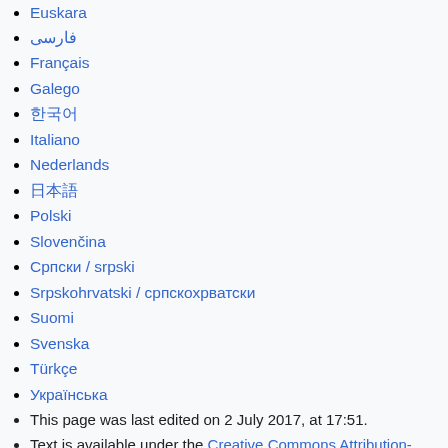Euskara
فارسی
Français
Galego
한국어
Italiano
Nederlands
日本語
Polski
Slovenčina
Српски / srpski
Srpskohrvatski / српскохрватски
Suomi
Svenska
Türkçe
Українська
This page was last edited on 2 July 2017, at 17:51.
Text is available under the Creative Commons Attribution-ShareAlike License; additional terms may apply. By using this site, you agree to the Terms of Use and Privacy Policy. Wikipedia® is a registered trademark of the Wikimedia Foundation, Inc., a non-profit organization.